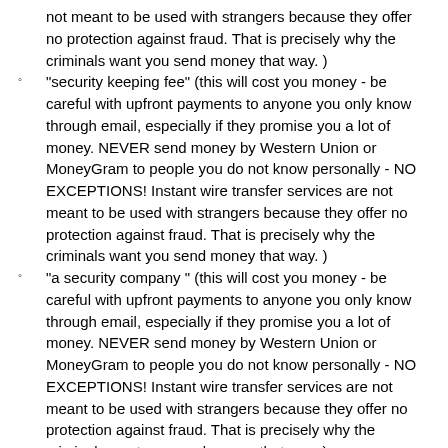not meant to be used with strangers because they offer no protection against fraud. That is precisely why the criminals want you send money that way. )
"security keeping fee" (this will cost you money - be careful with upfront payments to anyone you only know through email, especially if they promise you a lot of money. NEVER send money by Western Union or MoneyGram to people you do not know personally - NO EXCEPTIONS! Instant wire transfer services are not meant to be used with strangers because they offer no protection against fraud. That is precisely why the criminals want you send money that way. )
"a security company " (this will cost you money - be careful with upfront payments to anyone you only know through email, especially if they promise you a lot of money. NEVER send money by Western Union or MoneyGram to people you do not know personally - NO EXCEPTIONS! Instant wire transfer services are not meant to be used with strangers because they offer no protection against fraud. That is precisely why the criminals want you send money that way. )
"clearance certificate" (this will cost you money - be careful with upfront payments to anyone you only know through email, especially if they promise you a lot of money. NEVER send money by Western Union